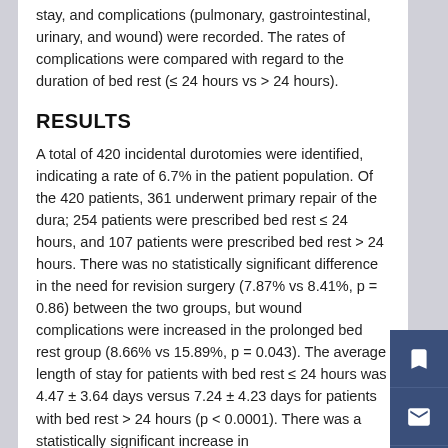stay, and complications (pulmonary, gastrointestinal, urinary, and wound) were recorded. The rates of complications were compared with regard to the duration of bed rest (≤ 24 hours vs > 24 hours).
RESULTS
A total of 420 incidental durotomies were identified, indicating a rate of 6.7% in the patient population. Of the 420 patients, 361 underwent primary repair of the dura; 254 patients were prescribed bed rest ≤ 24 hours, and 107 patients were prescribed bed rest > 24 hours. There was no statistically significant difference in the need for revision surgery (7.87% vs 8.41%, p = 0.86) between the two groups, but wound complications were increased in the prolonged bed rest group (8.66% vs 15.89%, p = 0.043). The average length of stay for patients with bed rest ≤ 24 hours was 4.47 ± 3.64 days versus 7.24 ± 4.23 days for patients with bed rest > 24 hours (p < 0.0001). There was a statistically significant increase in